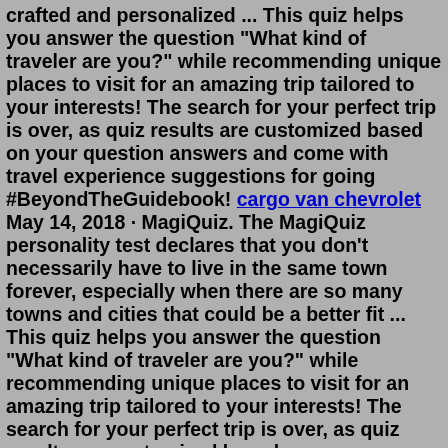crafted and personalized ... This quiz helps you answer the question "What kind of traveler are you?" while recommending unique places to visit for an amazing trip tailored to your interests! The search for your perfect trip is over, as quiz results are customized based on your question answers and come with travel experience suggestions for going #BeyondTheGuidebook! cargo van chevrolet May 14, 2018 · MagiQuiz. The MagiQuiz personality test declares that you don't necessarily have to live in the same town forever, especially when there are so many towns and cities that could be a better fit ... This quiz helps you answer the question "What kind of traveler are you?" while recommending unique places to visit for an amazing trip tailored to your interests! The search for your perfect trip is over, as quiz results are customized based on your question answers and come with travel experience suggestions for going #BeyondTheGuidebook! Nov 23, 2021 · Take our quiz. Read more about the methodology behind this project.. Satellite imagery via Mapbox, Maxar, NASA